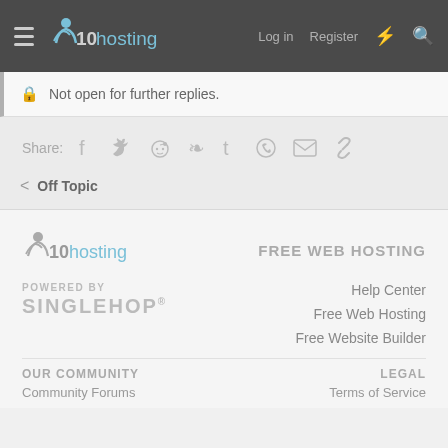x10hosting — Log in   Register
Not open for further replies.
Share:  [facebook] [twitter] [reddit] [pinterest] [tumblr] [whatsapp] [email] [link]
< Off Topic
[Figure (logo): x10hosting logo in footer]
FREE WEB HOSTING
POWERED BY SINGLEHOP
Help Center
Free Web Hosting
Free Website Builder
OUR COMMUNITY
LEGAL
Community Forums
Terms of Service